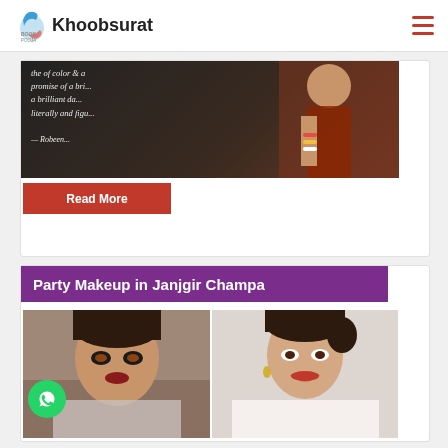Khoobsurat
[Figure (photo): Bridal makeup photo with text overlay showing a quote about promise of a brilliant day, with bride in traditional red and gold attire]
Read More
Party Makeup in Janjgir Champa
[Figure (photo): Two photos of women with party makeup - left shows close-up with smokey eye makeup, right shows woman smiling in white outfit]